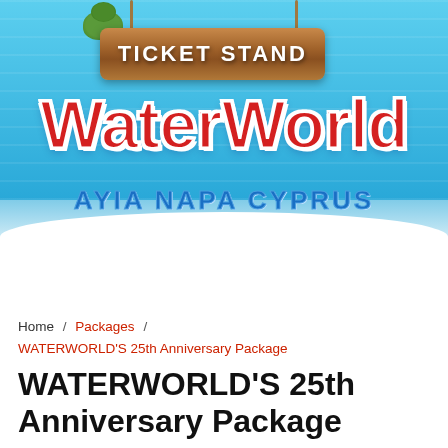[Figure (logo): WaterWorld Ticket Stand hero banner with blue water background, wooden sign reading 'TICKET STAND' with ropes and plant, large red WaterWorld logo, and blue 'AYIA NAPA CYPRUS' subtitle]
Basket: 🛍
Home / Packages / WATERWORLD'S 25th Anniversary Package
WATERWORLD'S 25th Anniversary Package